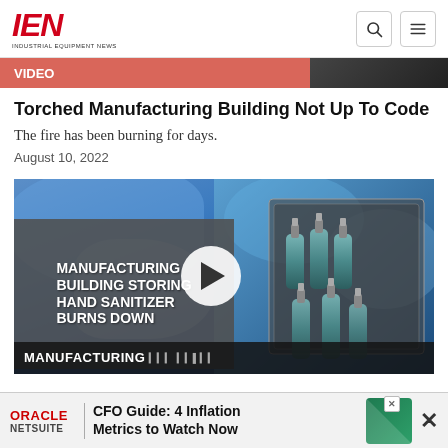IEN - INDUSTRIAL EQUIPMENT NEWS
VIDEO
Torched Manufacturing Building Not Up To Code
The fire has been burning for days.
August 10, 2022
[Figure (screenshot): Video thumbnail showing a manufacturing building storing hand sanitizer burns down. Shows overlay text 'MANUFACTURING BUILDING STORING HAND SANITIZER BURNS DOWN' with a play button and bottles of hand sanitizer on the right side. Bottom banner shows 'MANUFACTURING' text.]
ORACLE NETSUITE | CFO Guide: 4 Inflation Metrics to Watch Now